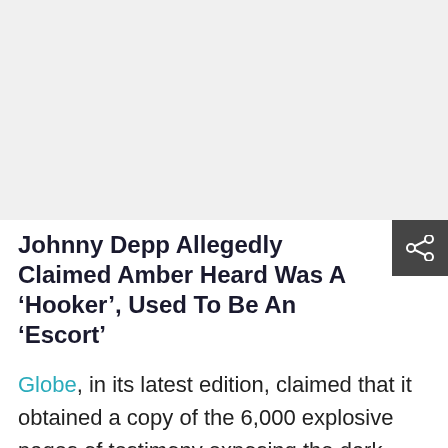[Figure (photo): Gray placeholder image area at the top of the article page]
Johnny Depp Allegedly Claimed Amber Heard Was A ‘Hooker’, Used To Be An ‘Escort’
Globe, in its latest edition, claimed that it obtained a copy of the 6,000 explosive pages of testimony exposing the dark underbelly of Amber